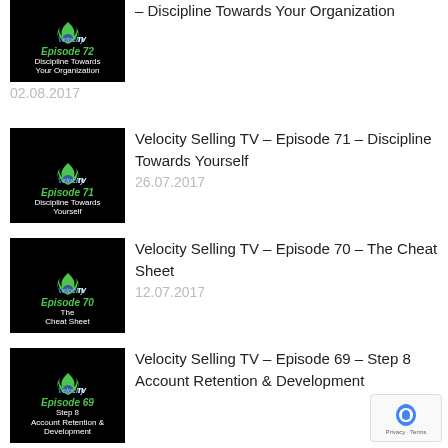[Figure (screenshot): Thumbnail for Episode 72 - Discipline Towards Your Organization (Velocity Selling TV)]
– Discipline Towards Your Organization
02.08.2017
[Figure (screenshot): Thumbnail for Episode 71 - Discipline Towards Yourself (Velocity Selling TV)]
Velocity Selling TV – Episode 71 – Discipline Towards Yourself
26.07.2017
[Figure (screenshot): Thumbnail for Episode 70 - The Cheat Sheet (Velocity Selling TV)]
Velocity Selling TV – Episode 70 – The Cheat Sheet
12.07.2017
[Figure (screenshot): Thumbnail for Episode 69 - Step 8 Account Retention & Development (Velocity Selling TV)]
Velocity Selling TV – Episode 69 – Step 8 Account Retention & Development
05.07.2017